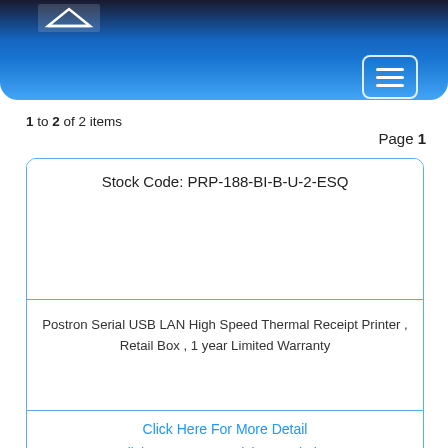[Figure (screenshot): Blue gradient navigation banner with hamburger menu button on the right]
1 to 2 of 2 items
Page 1
Stock Code: PRP-188-BI-B-U-2-ESQ
Postron Serial USB LAN High Speed Thermal Receipt Printer , Retail Box , 1 year Limited Warranty
Click Here For More Detail
Click Here For a Quick Description